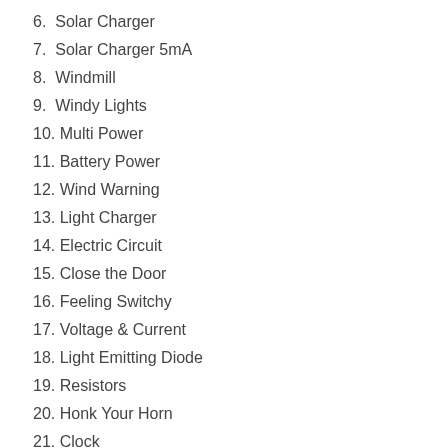6. Solar Charger
7. Solar Charger 5mA
8. Windmill
9. Windy Lights
10. Multi Power
11. Battery Power
12. Wind Warning
13. Light Charger
14. Electric Circuit
15. Close the Door
16. Feeling Switchy
17. Voltage & Current
18. Light Emitting Diode
19. Resistors
20. Honk Your Horn
21. Clock
22. Capacitor
23. Motor
24. Water Wheel